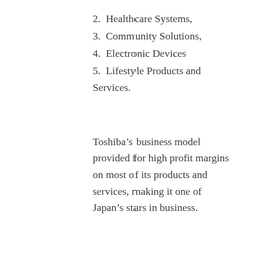2. Healthcare Systems,
3. Community Solutions,
4. Electronic Devices
5. Lifestyle Products and Services.
Toshiba’s business model provided for high profit margins on most of its products and services, making it one of Japan’s stars in business.
The problem – how Toshiba got into trouble